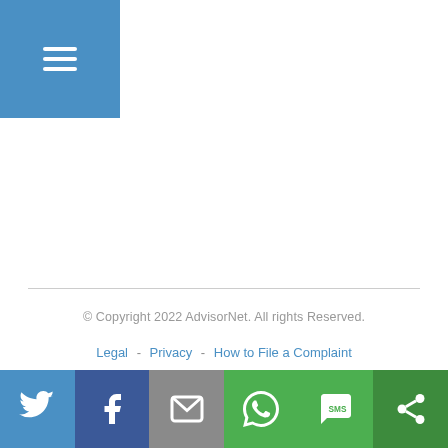[Figure (other): Blue hamburger menu button in top-left corner]
[Figure (logo): Sterling Mutuals Inc. logo — large serif letters STERLING above banner reading MUTUALS INC.]
© Copyright 2022 AdvisorNet. All rights Reserved.
Legal  -  Privacy  -  How to File a Complaint
[Figure (other): Social sharing bar with six buttons: Twitter (blue), Facebook (dark blue), Email (grey), WhatsApp (green), SMS (green), Share/More (green)]